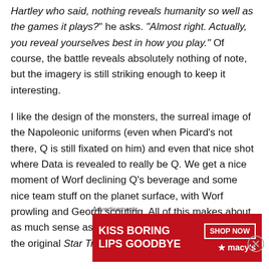Hartley who said, nothing reveals humanity so well as the games it plays?" he asks. "Almost right. Actually, you reveal yourselves best in how you play." Of course, the battle reveals absolutely nothing of note, but the imagery is still striking enough to keep it interesting.
I like the design of the monsters, the surreal image of the Napoleonic uniforms (even when Picard's not there, Q is still fixated on him) and even that nice shot where Data is revealed to really be Q. We get a nice moment of Worf declining Q's beverage and some nice team stuff on the planet surface, with Worf prowling and Geordi scouting. All of this makes about as much sense as an episode of the third season of the original Star Trek, but it manages to
Advertisements
[Figure (other): Macy's advertisement banner: red background with white bold text 'KISS BORING LIPS GOODBYE', a woman with red lipstick, 'SHOP NOW' button outlined in white, and Macy's star logo.]